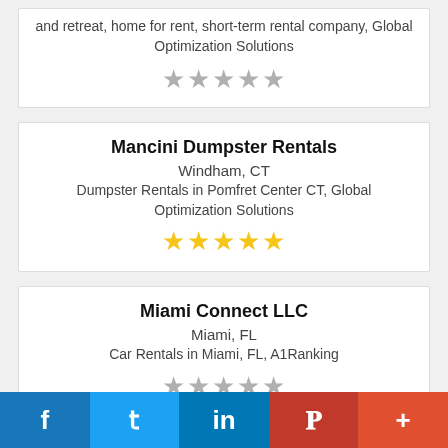and retreat, home for rent, short-term rental company, Global Optimization Solutions
★★★★★ (gray stars)
Mancini Dumpster Rentals
Windham, CT
Dumpster Rentals in Pomfret Center CT, Global Optimization Solutions
★★★★★ (yellow stars)
Miami Connect LLC
Miami, FL
Car Rentals in Miami, FL, A1Ranking
★★★★★ (gray stars)
f  t  in  P  +